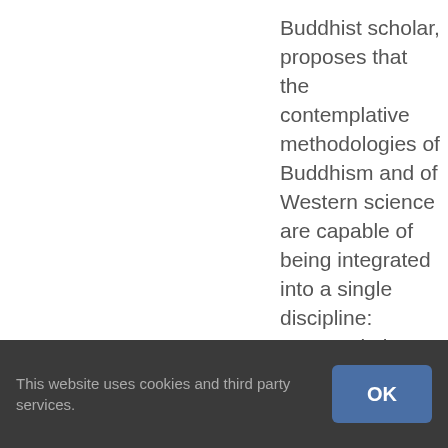Buddhist scholar, proposes that the contemplative methodologies of Buddhism and of Western science are capable of being integrated into a single discipline: contemplative science. The science of consciousness introduces first-person methods of investigating the mind through Buddhist contemplative techniques, such as samatha, an organized, detailed system of training the attention. Just as scientists make observations and conduct experiments with the aid of technology, contemplatives have long
This website uses cookies and third party services.